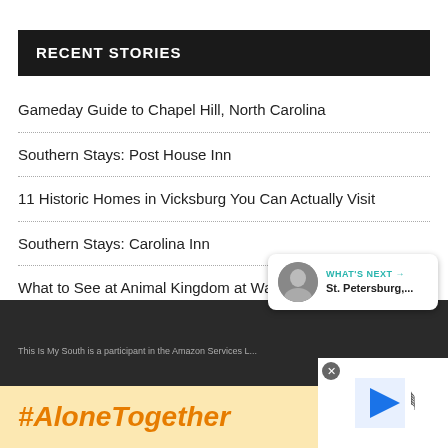RECENT STORIES
Gameday Guide to Chapel Hill, North Carolina
Southern Stays: Post House Inn
11 Historic Homes in Vicksburg You Can Actually Visit
Southern Stays: Carolina Inn
What to See at Animal Kingdom at Walt Disney World
WHAT'S NEXT → St. Petersburg,...
This Is My South is a participant in the Amazon Services L...
#AloneTogether